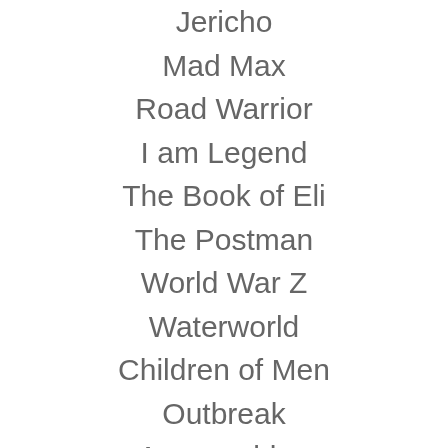Jericho
Mad Max
Road Warrior
I am Legend
The Book of Eli
The Postman
World War Z
Waterworld
Children of Men
Outbreak
Armageddon
Oblivion
The Day After Tomorrow
and more.
The camera is surveilling and the bird is watching from their perch.
We go about our days like the post apocalyptic machine that we are the Earth...